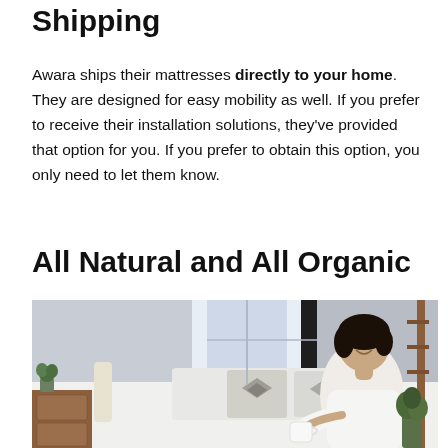Shipping
Awara ships their mattresses directly to your home. They are designed for easy mobility as well. If you prefer to receive their installation solutions, they've provided that option for you. If you prefer to obtain this option, you only need to let them know.
All Natural and All Organic
[Figure (photo): A smiling woman with short dark hair, wearing a white long-sleeve shirt, sitting on a white bed holding a white mug. The bedroom has patterned pillows, a metal bed frame, and plants visible in the background near a bright window.]